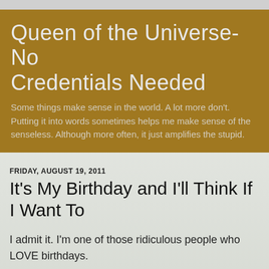Queen of the Universe- No Credentials Needed
Some things make sense in the world. A lot more don't. Putting it into words sometimes helps me make sense of the senseless. Although more often, it just amplifies the stupid.
FRIDAY, AUGUST 19, 2011
It's My Birthday and I'll Think If I Want To
I admit it. I'm one of those ridiculous people who LOVE birthdays.